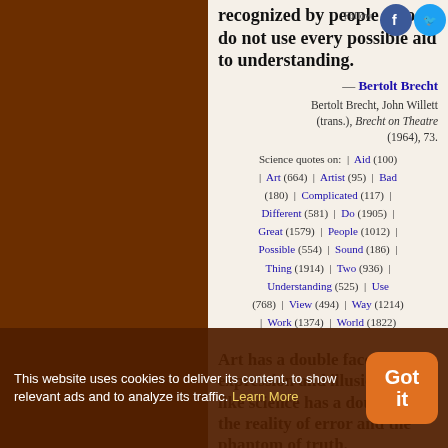recognized by people who do not use every possible aid to understanding.
— Bertolt Brecht
Bertolt Brecht, John Willett (trans.), Brecht on Theatre (1964), 73.
Science quotes on: | Aid (100) | Art (664) | Artist (95) | Bad (180) | Complicated (117) | Different (581) | Do (1905) | Great (1579) | People (1012) | Possible (554) | Sound (186) | Thing (1914) | Two (936) | Understanding (525) | Use (768) | View (494) | Way (1214) | Work (1374) | World (1822)
Art has a double face, of expression and illusion, just like science has a double face; the reality of error and the phantom of truth.
This website uses cookies to deliver its content, to show relevant ads and to analyze its traffic. Learn More